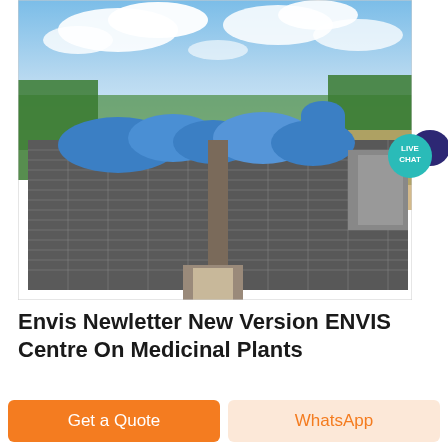[Figure (photo): Aerial view of a large industrial/warehouse complex with blue-roofed structures and solar panels on rooftops, surrounded by green trees and open land under a partly cloudy sky. A teal 'LIVE CHAT' speech bubble badge is overlaid in the upper right area.]
Envis Newletter New Version ENVIS Centre On Medicinal Plants
Get a Quote
WhatsApp